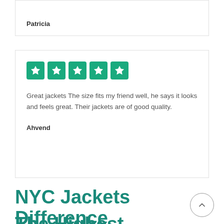Patricia
[Figure (other): Five green star rating icons in a row]
Great jackets The size fits my friend well, he says it looks and feels great. Their jackets are of good quality.
Ahvend
NYC Jackets Difference
The Highest Quality Raw